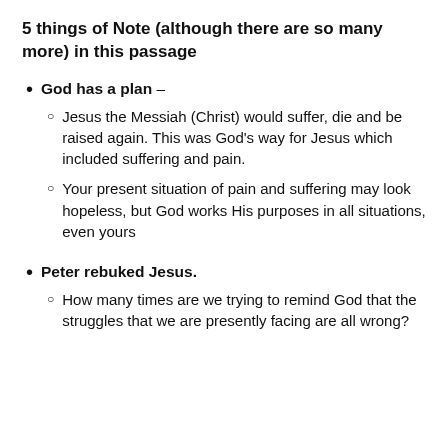5 things of Note (although there are so many more) in this passage
God has a plan –
Jesus the Messiah (Christ) would suffer, die and be raised again. This was God's way for Jesus which included suffering and pain.
Your present situation of pain and suffering may look hopeless, but God works His purposes in all situations, even yours
Peter rebuked Jesus.
How many times are we trying to remind God that the struggles that we are presently facing are all wrong?